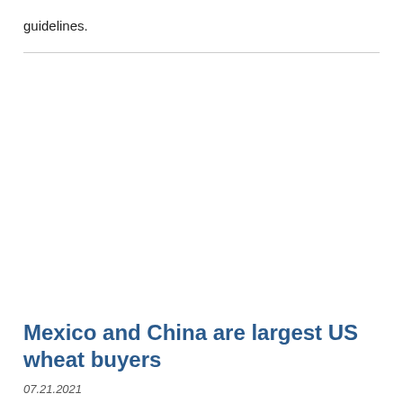guidelines.
Mexico and China are largest US wheat buyers
07.21.2021